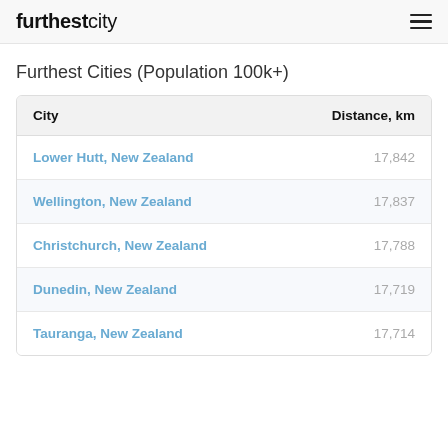furthestcity
Furthest Cities (Population 100k+)
| City | Distance, km |
| --- | --- |
| Lower Hutt, New Zealand | 17,842 |
| Wellington, New Zealand | 17,837 |
| Christchurch, New Zealand | 17,788 |
| Dunedin, New Zealand | 17,719 |
| Tauranga, New Zealand | 17,714 |